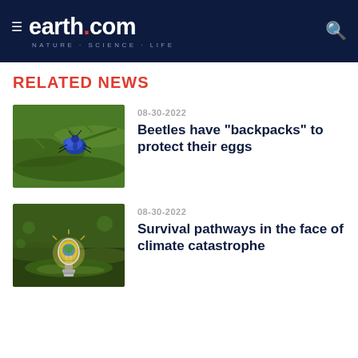earth.com — NATURE · SCIENCE · LIFE
RELATED NEWS
[Figure (photo): Blue beetle on a green fern leaf]
08-30-2022
Beetles have "backpacks" to protect their eggs
[Figure (photo): Glowing light bulb on moss in a green forest setting]
08-30-2022
Survival pathways in the face of climate catastrophe